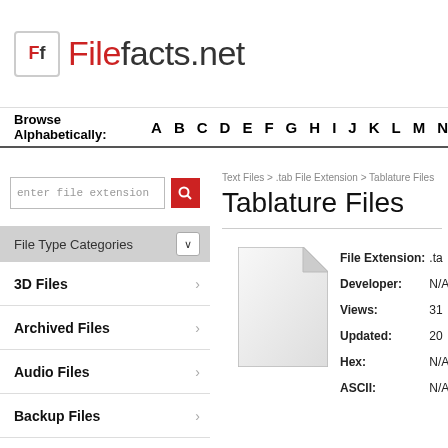Ff Filefacts.net
Browse Alphabetically: A B C D E F G H I J K L M N
enter file extension
File Type Categories
3D Files
Archived Files
Audio Files
Backup Files
CAD Files
Data Files
Desktop Publishing
Developer Files
Text Files > .tab File Extension > Tablature Files
Tablature Files
[Figure (illustration): Generic file icon - white document with folded corner]
| Field | Value |
| --- | --- |
| File Extension: | .ta |
| Developer: | N/A |
| Views: | 31 |
| Updated: | 20 |
| Hex: | N/A |
| ASCII: | N/A |